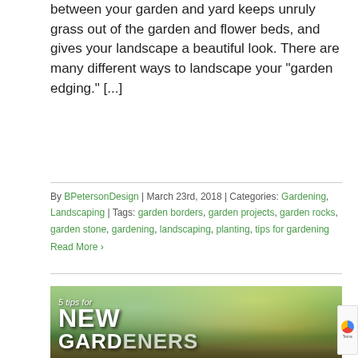between your garden and yard keeps unruly grass out of the garden and flower beds, and gives your landscape a beautiful look. There are many different ways to landscape your "garden edging." [...]
By BPetersonDesign | March 23rd, 2018 | Categories: Gardening, Landscaping | Tags: garden borders, garden projects, garden rocks, garden stone, gardening, landscaping, planting, tips for gardening
Read More >
[Figure (photo): Photo of gardening scene with a watering can, yellow and pink flowers in a basket, and a straw hat. Text overlay reads '5 tips for NEW GARDENERS' in white.]